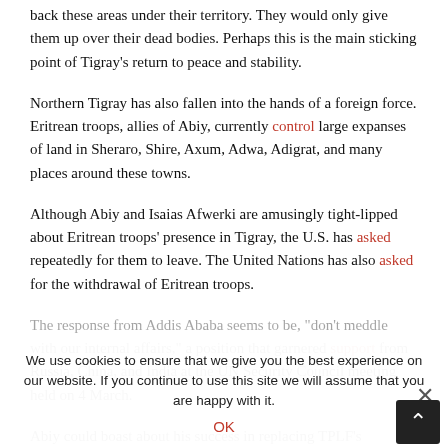The feeling among the Amhara is that they have fought hard to bring back these areas under their territory. They would only give them up over their dead bodies. Perhaps this is the main sticking point of Tigray's return to peace and stability.
Northern Tigray has also fallen into the hands of a foreign force. Eritrean troops, allies of Abiy, currently control large expanses of land in Sheraro, Shire, Axum, Adwa, Adigrat, and many places around these towns.
Although Abiy and Isaias Afwerki are amusingly tight-lipped about Eritrean troops' presence in Tigray, the U.S. has asked repeatedly for them to leave. The United Nations has also asked for the withdrawal of Eritrean troops.
The response from Addis Ababa seems to be, “don’t meddle with our internal affairs,” a position that garnered support from Russia, China, and India at the UN Security Council meeting held on 4 March.
Abiy could boast about his success in replacing TPLF’s administration in Tigray, though many are alarmed by the human rights abuses.
We use cookies to ensure that we give you the best experience on our website. If you continue to use this site we will assume that you are happy with it.